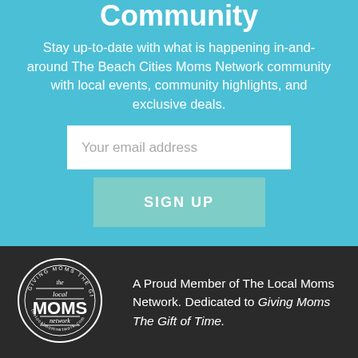Community
Stay up-to-date with what is happening in-and-around The Beach Cities Moms Network community with local events, community highlights, and exclusive deals.
[Figure (other): Email input field with placeholder text 'Your email address' and a SIGN UP button below it]
[Figure (logo): Circular badge logo reading 'Giving Moms The Gift of Time - the local MOMS network - thelocalmomnetwork.com']
A Proud Member of The Local Moms Network. Dedicated to Giving Moms The Gift of Time.